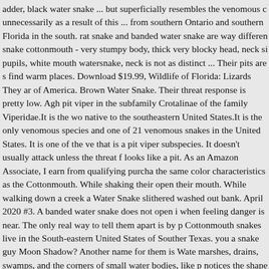adder, black water snake ... but superficially resembles the venomous c unnecessarily as a result of this ... from southern Ontario and southern Florida in the south. rat snake and banded water snake are way differen snake cottonmouth - very stumpy body, thick very blocky head, neck si pupils, white mouth watersnake, neck is not as distinct ... Their pits are s find warm places. Download $19.99, Wildlife of Florida: Lizards They ar of America. Brown Water Snake. Their threat response is pretty low. Agh pit viper in the subfamily Crotalinae of the family Viperidae.It is the wo native to the southeastern United States.It is the only venomous species and one of 21 venomous snakes in the United States. It is one of the ve that is a pit viper subspecies. It doesn't usually attack unless the threat f looks like a pit. As an Amazon Associate, I earn from qualifying purcha the same color characteristics as the Cottonmouth. While shaking their open their mouth. While walking down a creek a Water Snake slithered washed out bank. April 2020 #3. A banded water snake does not open i when feeling danger is near. The only real way to tell them apart is by p Cottonmouth snakes live in the South-eastern United States of Souther Texas. you a snake guy Moon Shadow? Another name for them is Wate marshes, drains, swamps, and the corners of small water bodies, like p notices the shape of the head, eyes, and iris, they will successfully disce which snake is not. The common method that they use to hunt down th body blows that are commonly seen in rattlesnakes. The avera...